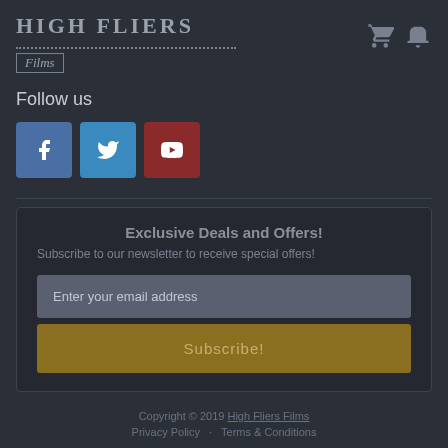High Fliers Films
Follow us
[Figure (other): Social media icon buttons: Facebook (blue), Twitter (teal/blue), YouTube (dark red)]
Exclusive Deals and Offers!
Subscribe to our newsletter to receive special offers!
Enter your email address
Subscribe!
Copyright © 2019 High Fliers Films
Privacy Policy   Terms & Conditions